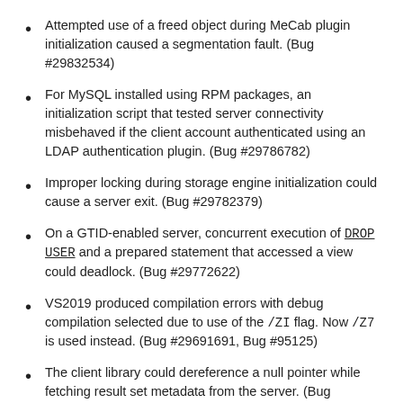Attempted use of a freed object during MeCab plugin initialization caused a segmentation fault. (Bug #29832534)
For MySQL installed using RPM packages, an initialization script that tested server connectivity misbehaved if the client account authenticated using an LDAP authentication plugin. (Bug #29786782)
Improper locking during storage engine initialization could cause a server exit. (Bug #29782379)
On a GTID-enabled server, concurrent execution of DROP USER and a prepared statement that accessed a view could deadlock. (Bug #29772622)
VS2019 produced compilation errors with debug compilation selected due to use of the /ZI flag. Now /Z7 is used instead. (Bug #29691691, Bug #95125)
The client library could dereference a null pointer while fetching result set metadata from the server. (Bug #29597896, Bug #30689251)